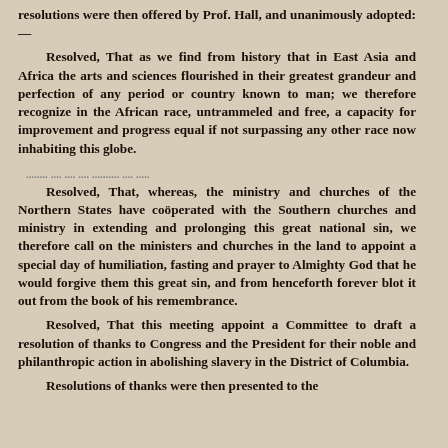resolutions were then offered by Prof. Hall, and unanimously adopted:—
Resolved, That as we find from history that in East Asia and Africa the arts and sciences flourished in their greatest grandeur and perfection of any period or country known to man; we therefore recognize in the African race, untrammeled and free, a capacity for improvement and progress equal if not surpassing any other race now inhabiting this globe.
Resolved, That, whereas, the ministry and churches of the Northern States have coöperated with the Southern churches and ministry in extending and prolonging this great national sin, we therefore call on the ministers and churches in the land to appoint a special day of humiliation, fasting and prayer to Almighty God that he would forgive them this great sin, and from henceforth forever blot it out from the book of his remembrance.
Resolved, That this meeting appoint a Committee to draft a resolution of thanks to Congress and the President for their noble and philanthropic action in abolishing slavery in the District of Columbia.
Resolutions of thanks were then presented to the